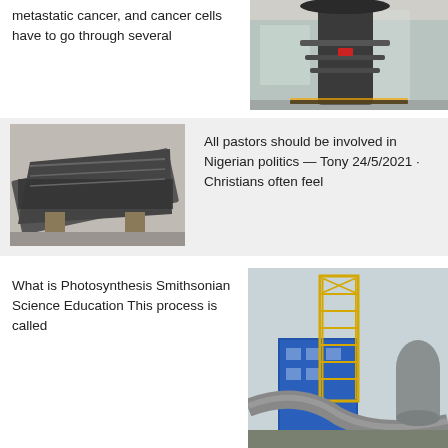metastatic cancer, and cancer cells have to go through several
[Figure (photo): Industrial equipment - large dark cylindrical tower/furnace structure inside a factory building]
[Figure (photo): Large industrial metal conveyor or screening machine on a factory floor]
All pastors should be involved in Nigerian politics — Tony 24/5/2021 · Christians often feel
What is Photosynthesis Smithsonian Science Education This process is called
[Figure (photo): Industrial plant with yellow scaffold tower structure, blue building, and large grey pipes/silos]